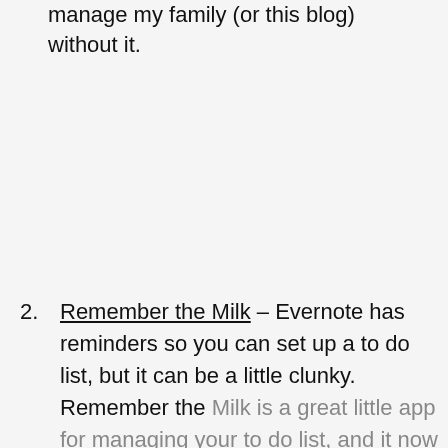manage my family (or this blog) without it.
Remember the Milk – Evernote has reminders so you can set up a to do list, but it can be a little clunky. Remember the Milk is a great little app for managing your to do list, and it now syncs with Evernote